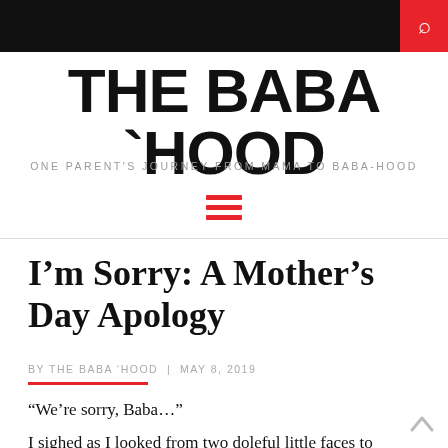THE BABA `HOOD — ONE PARENT'S JOURNEY FROM MAMA TO BABA-HOOD
I'm Sorry: A Mother's Day Apology
BY THE BABA 'HOOD  |  MAY 8, 2019
“We’re sorry, Baba…”
I sighed as I looked from two doleful little faces to the unbelievable mess of a backyard